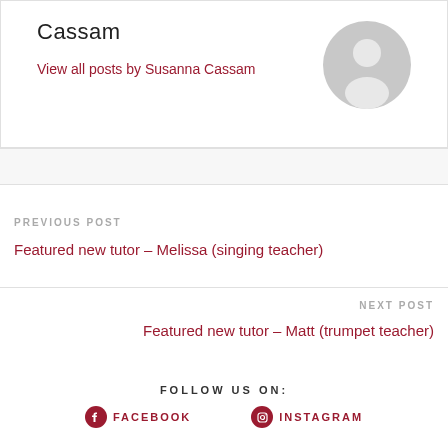Cassam
View all posts by Susanna Cassam
[Figure (illustration): Generic grey avatar/profile placeholder icon - circular head and shoulders silhouette]
PREVIOUS POST
Featured new tutor – Melissa (singing teacher)
NEXT POST
Featured new tutor – Matt (trumpet teacher)
FOLLOW US ON:
FACEBOOK
INSTAGRAM